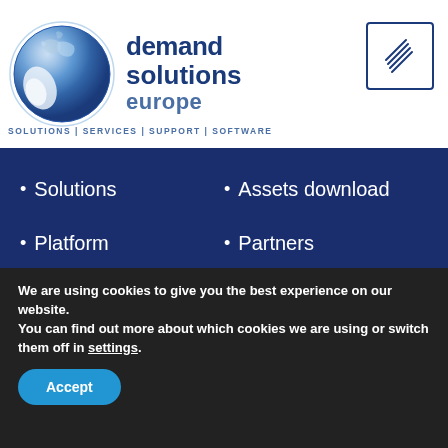[Figure (logo): Demand Solutions Europe logo with globe graphic and company name, tagline: SOLUTIONS | SERVICES | SUPPORT | SOFTWARE]
[Figure (other): Hamburger menu icon inside a square border box]
Solutions
Assets download
Platform
Partners
Industries
Blog
Customers
Contact us
We are using cookies to give you the best experience on our website.
You can find out more about which cookies we are using or switch them off in settings.
Accept